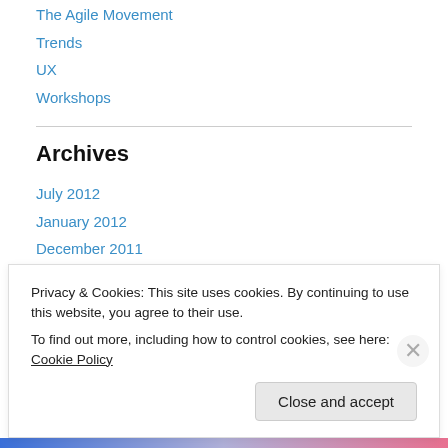The Agile Movement
Trends
UX
Workshops
Archives
July 2012
January 2012
December 2011
November 2011
October 2011
September 2011
Privacy & Cookies: This site uses cookies. By continuing to use this website, you agree to their use.
To find out more, including how to control cookies, see here: Cookie Policy
Close and accept